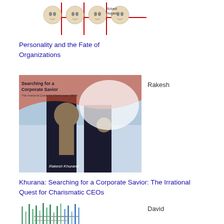[Figure (photo): Book cover for Personality and the Fate of Organizations by Robert Hogan]
Personality and the Fate of Organizations
[Figure (photo): Book cover for Searching for a Corporate Savior by Rakesh Khurana]
Rakesh
Khurana: Searching for a Corporate Savior: The Irrational Quest for Charismatic CEOs
[Figure (photo): Book cover for Self-Insight by David]
David